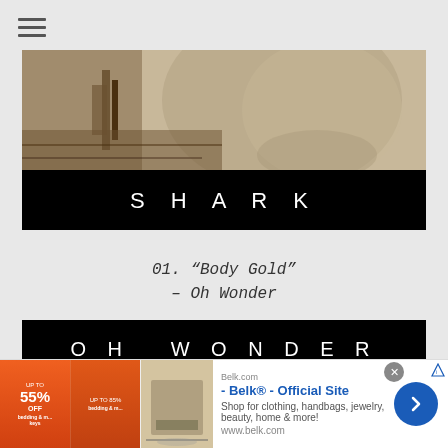[Figure (photo): Top gray navigation bar with hamburger menu icon]
[Figure (photo): SHARK album/show card: sepia-toned photo of a person outdoors on a deck/porch, with a black title bar below reading SHARK in wide-spaced white letters]
01. "Body Gold"
– Oh Wonder
[Figure (photo): OH WONDER album card: black title bar reading OH WONDER in wide-spaced white letters, with a partial photo of a person below]
[Figure (photo): Advertisement banner for Belk.com - Official Site: Shop for clothing, handbags, jewelry, beauty, home & more! www.belk.com]